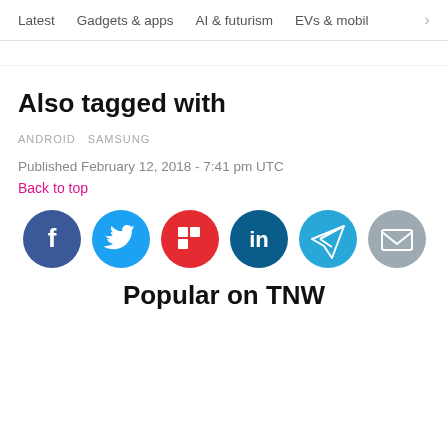Latest   Gadgets & apps   AI & futurism   EVs & mobil  >
Also tagged with
ANDROID  SAMSUNG
Published February 12, 2018 - 7:41 pm UTC
Back to top
[Figure (infographic): Social sharing icons: Facebook, Twitter, Flipboard, LinkedIn, Telegram, Email]
Popular on TNW